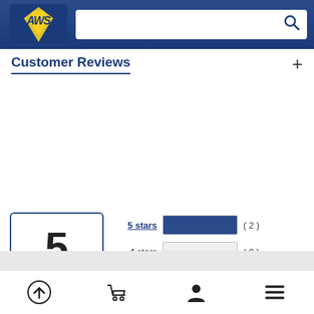[Figure (logo): AWS logo with lightning bolt on blue background header with search bar]
Customer Reviews
[Figure (bar-chart): Star rating breakdown with score box showing 5 out of 5]